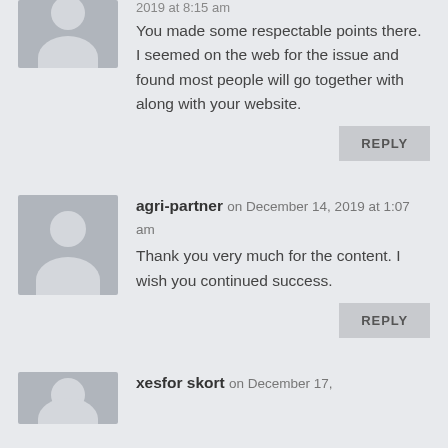2019 at 8:15 am
You made some respectable points there. I seemed on the web for the issue and found most people will go together with along with your website.
REPLY
agri-partner on December 14, 2019 at 1:07 am
Thank you very much for the content. I wish you continued success.
REPLY
xesfor skort on December 17,